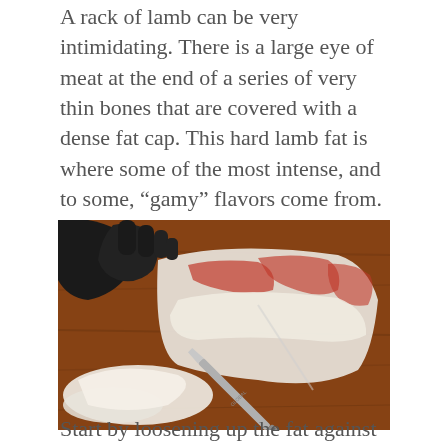A rack of lamb can be very intimidating. There is a large eye of meat at the end of a series of very thin bones that are covered with a dense fat cap. This hard lamb fat is where some of the most intense, and to some, “gamy” flavors come from.
[Figure (photo): A gloved hand (black glove) pulling back fat from a rack of lamb on a wooden cutting board, with a Global knife cutting through the fat cap. The meat shows red muscle and white fat.]
Start by loosening up the fat against